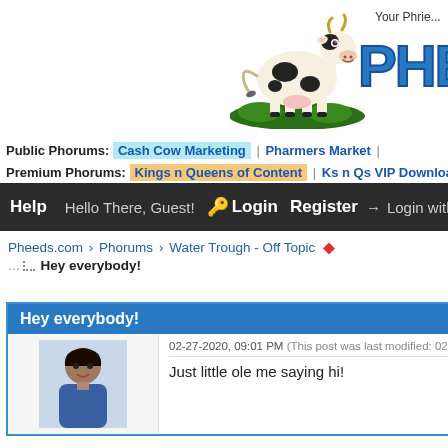[Figure (illustration): Cartoon cow mascot standing on green grass, black and white spotted Holstein cow]
Your Phrie... PHED (partial, cropped) - Pheeds.com forum site header with cow mascot logo
Public Phorums: Cash Cow Marketing | Pharmers Market |
Premium Phorums: Kings n Queens of Content | Ks n Qs VIP Downloa...
Help  Hello There, Guest!  Login  Register → Login with F...
Pheeds.com › Phorums › Water Trough - Off Topic ◆
Hey everybody!
Hey everybody!
02-27-2020, 09:01 PM (This post was last modified: 02...
Just little ole me saying hi!